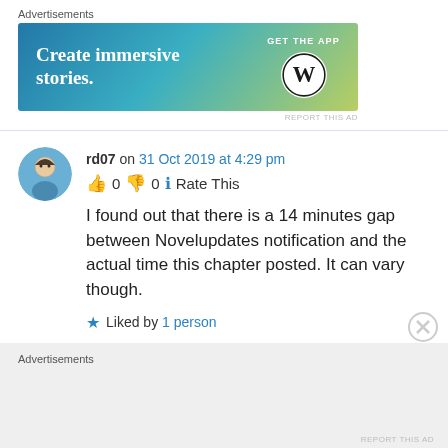Advertisements
[Figure (screenshot): WordPress 'Create immersive stories. GET THE APP' advertisement banner with blue-green gradient background and WordPress logo]
REPORT THIS AD
rd07 on 31 Oct 2019 at 4:29 pm
👍 0 👎 0 🔵 Rate This
I found out that there is a 14 minutes gap between Novelupdates notification and the actual time this chapter posted. It can vary though.
★ Liked by 1 person
Advertisements
REPORT THIS AD